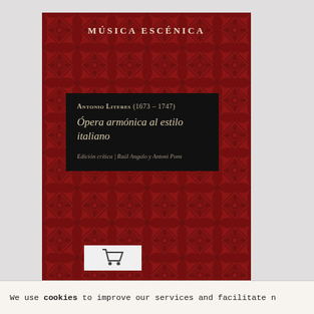[Figure (illustration): Book cover with red damask pattern background. Title: Ópera armónica al estilo italiano by Antonio Literes (1673-1747). Series: Música Escénica. Critical edition by Raúl Angulo y Antoni Pons.]
MÚSICA ESCÉNICA
ANTONIO LITERES (1673 – 1747)
Ópera armónica al estilo italiano
Edición crítica | Raúl Angulo y Antoni Pons
We use cookies to improve our services and facilitate n